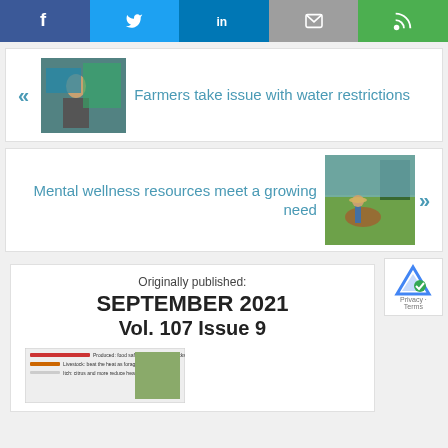[Figure (infographic): Social media sharing bar with Facebook, Twitter, LinkedIn, Email, and RSS icons]
[Figure (photo): Thumbnail of a person at a farm/expo booth]
Farmers take issue with water restrictions
Mental wellness resources meet a growing need
[Figure (photo): Thumbnail of a cowboy on a horse in a field]
Originally published:
SEPTEMBER 2021
Vol. 107 Issue 9
[Figure (screenshot): Partial thumbnail of a magazine cover for September 2021 Vol. 107 Issue 9]